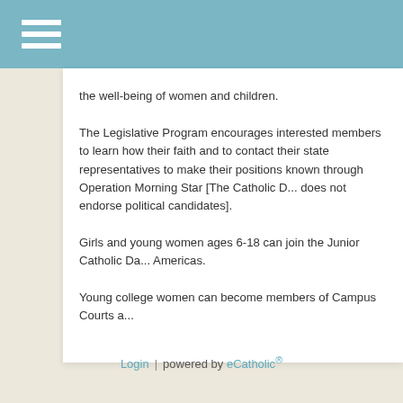the well-being of women and children.
The Legislative Program encourages interested members to learn how their faith and to contact their state representatives to make their positions known through Operation Morning Star [The Catholic D... does not endorse political candidates].
Girls and young women ages 6-18 can join the Junior Catholic Da... Americas.
Young college women can become members of Campus Courts a...
Login | powered by eCatholic®